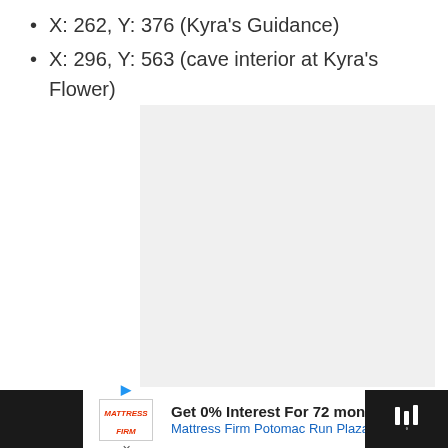X: 262, Y: 376 (Kyra's Guidance)
X: 296, Y: 563 (cave interior at Kyra's Flower)
[Figure (other): Gray placeholder/content box]
[Figure (other): Advertisement banner: Get 0% Interest For 72 months - Mattress Firm Potomac Run Plaza]